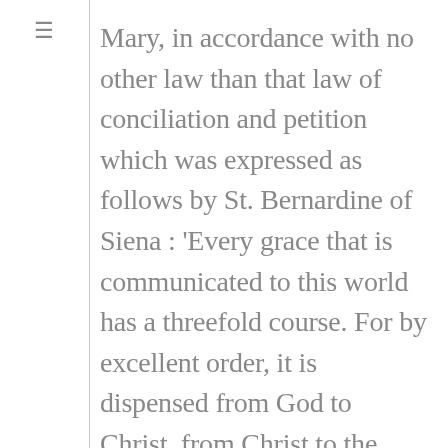Mary, in accordance with no other law than that law of conciliation and petition which was expressed as follows by St. Bernardine of Siena : 'Every grace that is communicated to this world has a threefold course. For by excellent order, it is dispensed from God to Christ, from Christ to the Virgin, from the Virgin to us.'